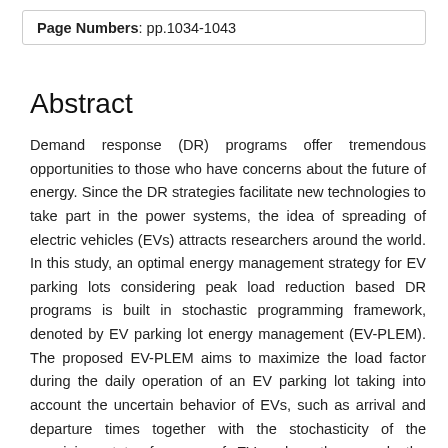Page Numbers: pp.1034-1043
Abstract
Demand response (DR) programs offer tremendous opportunities to those who have concerns about the future of energy. Since the DR strategies facilitate new technologies to take part in the power systems, the idea of spreading of electric vehicles (EVs) attracts researchers around the world. In this study, an optimal energy management strategy for EV parking lots considering peak load reduction based DR programs is built in stochastic programming framework, denoted by EV parking lot energy management (EV-PLEM). The proposed EV-PLEM aims to maximize the load factor during the daily operation of an EV parking lot taking into account the uncertain behavior of EVs, such as arrival and departure times together with the stochasticity of the remaining state-of-energy of EVs when they reach the parking lot. A set of case studies is conducted to validate the effectiveness of the suggested EV-PLEM